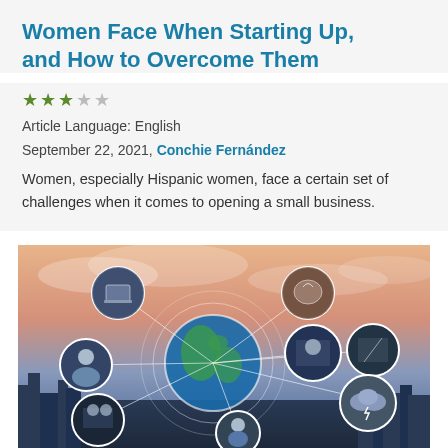Women Face When Starting Up, and How to Overcome Them
Article Language: English
September 22, 2021, Conchie Fernández
Women, especially Hispanic women, face a certain set of challenges when it comes to opening a small business.
[Figure (illustration): Globe with network connections showing various circular images of business and technology scenes connected by white lines, set against a sunset cityscape background.]